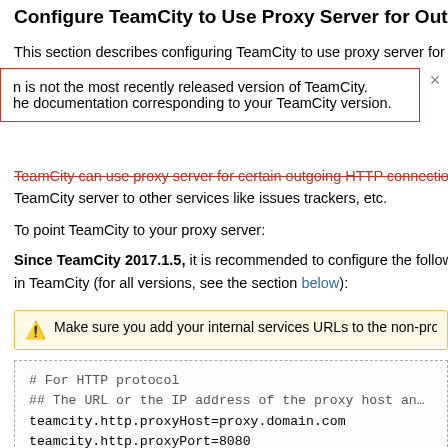Configure TeamCity to Use Proxy Server for Outgoing C...
This section describes configuring TeamCity to use proxy server for c...
n is not the most recently released version of TeamCity.
he documentation corresponding to your TeamCity version.
TeamCity can use proxy server for certain outgoing HTTP connection...
TeamCity server to other services like issues trackers, etc.
To point TeamCity to your proxy server:
Since TeamCity 2017.1.5, it is recommended to configure the followi... in TeamCity (for all versions, see the section below):
Make sure you add your internal services URLs to the non-prox...
# For HTTP protocol
## The URL or the IP address of the proxy host an...
teamcity.http.proxyHost=proxy.domain.com
teamcity.http.proxyPort=8080

## The hosts that should be accessed without goin...

teamcity.http.nonProxyHosts=localhost|*.mydomain....